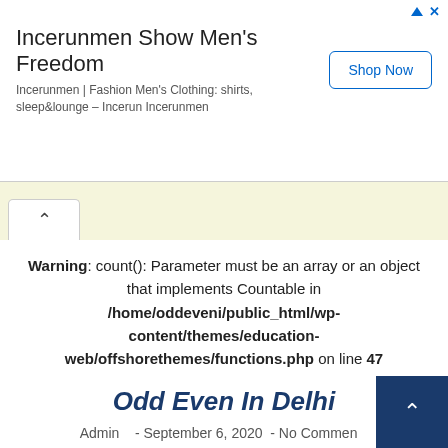[Figure (screenshot): Advertisement banner for Incerunmen with title 'Incerunmen Show Men's Freedom', subtitle 'Incerunmen | Fashion Men's Clothing: shirts, sleep&lounge – Incerun Incerunmen', and a 'Shop Now' button]
Warning: count(): Parameter must be an array or an object that implements Countable in /home/oddeveni/public_html/wp-content/themes/education-web/offshorethemes/functions.php on line 47
Odd Even In Delhi
Admin   - September 6, 2020  - No Comments
Odd Even Formula Odd–even rationing is a method of rationing in which access to some resource is